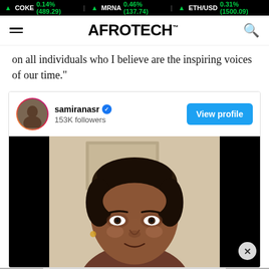▲ COKE 0.14% (489.29) | ▲ MRNA 0.46% (137.74) | ▲ ETH/USD 0.31% (1500.09)
AFROTECH™
on all individuals who I believe are the inspiring voices of our time."
[Figure (screenshot): Instagram-style embed card showing user samiranasr with 153K followers, a verified badge, and a View profile button, followed by a close-up photo of a woman's face]
samiranasr ✓
153K followers